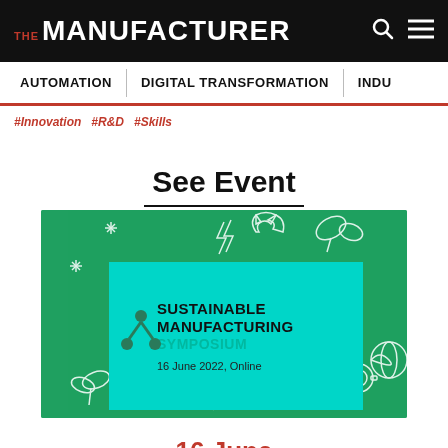THE MANUFACTURER
AUTOMATION | DIGITAL TRANSFORMATION | INDU
#Innovation #R&D #Skills
See Event
[Figure (illustration): Sustainable Manufacturing Symposium event banner on a green background with white line-art icons (plants, lightning bolts, gears, recycling, earth). A cyan/teal overlay box shows a trident/molecule logo with text: SUSTAINABLE MANUFACTURING SYMPOSIUM, 16 June 2022, Online.]
16 June